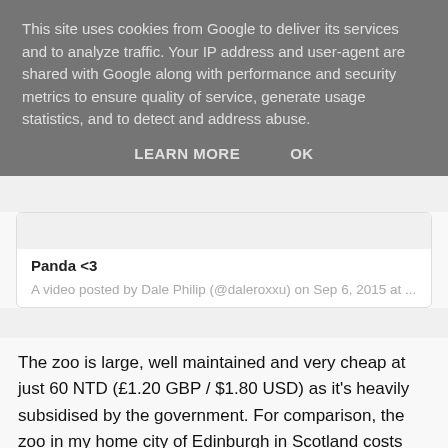This site uses cookies from Google to deliver its services and to analyze traffic. Your IP address and user-agent are shared with Google along with performance and security metrics to ensure quality of service, generate usage statistics, and to detect and address abuse.
LEARN MORE    OK
Panda <3
A video posted by Dale Philip (@daleroxxu) on Sep 6, 2015 at ...
The zoo is large, well maintained and very cheap at just 60 NTD (£1.20 GBP / $1.80 USD) as it's heavily subsidised by the government. For comparison, the zoo in my home city of Edinburgh in Scotland costs £17 GBP ($25.50 USD) to enter - that's FOURTEEN times the price.
We spent about 5 hours enjoying the zoo so it was a really